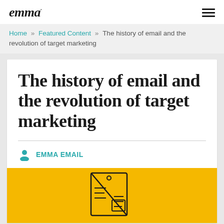emma
Home » Featured Content » The history of email and the revolution of target marketing
The history of email and the revolution of target marketing
EMMA EMAIL
[Figure (illustration): Yellow background with a line-art illustration of an envelope/document with diagonal stripe and email/letter icon]